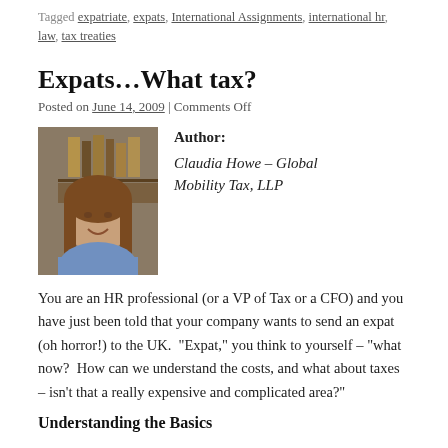Tagged expatriate, expats, International Assignments, international hr, law, tax treaties
Expats…What tax?
Posted on June 14, 2009 | Comments Off
[Figure (photo): Author photo of Claudia Howe, a woman with long brown hair, smiling, in front of a bookshelf]
Author: Claudia Howe – Global Mobility Tax, LLP
You are an HR professional (or a VP of Tax or a CFO) and you have just been told that your company wants to send an expat (oh horror!) to the UK.  "Expat," you think to yourself – "what now?  How can we understand the costs, and what about taxes – isn't that a really expensive and complicated area?"
Understanding the Basics